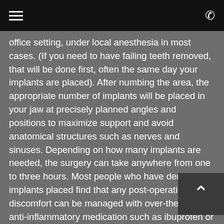Navigation header with hamburger menu and phone icon
office setting, under local anesthesia in most cases. (If you need to have failing teeth removed, that will be done first, often the same day your implants are placed). After numbing the area, the appropriate number of implants will be placed in your jaw at precisely planned angles and positions to maximize support and avoid anatomical structures such as nerves and sinuses. Depending on how many implants are needed, the surgery can take anywhere from one to three hours. Most people who have dental implants placed find that any post-operative discomfort can be managed with over-the-counter anti-inflammatory medication such as ibuprofen or acetaminophen. Some don't even need to take that.
What happens immediately after surgery will depend on what's best to promote healing in your individual situation. Sometimes a set of temporary teeth can be attached